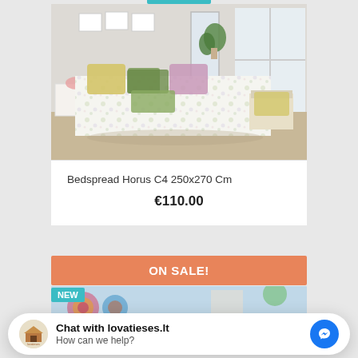[Figure (photo): Bedroom with a floral bedspread (Horus C4), colorful pillows in yellow, green, pink, and green tones, white furniture, large window with natural light, plant on windowsill.]
Bedspread Horus C4 250x270 Cm
€110.00
ON SALE!
NEW
[Figure (screenshot): Chat widget overlay: logo of lovatieses.lt, text 'Chat with lovatieses.lt / How can we help?' and Messenger blue icon button.]